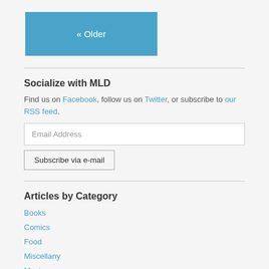« Older
Socialize with MLD
Find us on Facebook, follow us on Twitter, or subscribe to our RSS feed.
Email Address
Subscribe via e-mail
Articles by Category
Books
Comics
Food
Miscellany
Movies